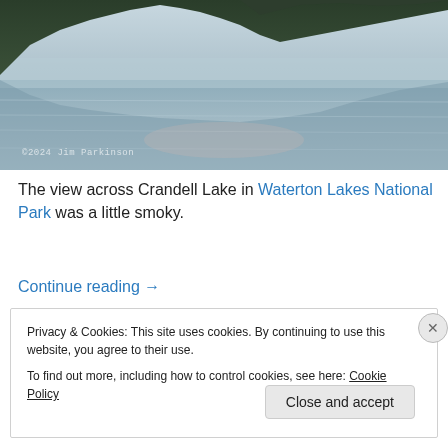[Figure (photo): A misty lake (Crandell Lake) with forested hills reflected in calm water, taken in Waterton Lakes National Park. A watermark reads '©2024 Jim Parkinson' in the lower left.]
The view across Crandell Lake in Waterton Lakes National Park was a little smoky.
Continue reading →
Privacy & Cookies: This site uses cookies. By continuing to use this website, you agree to their use.
To find out more, including how to control cookies, see here: Cookie Policy